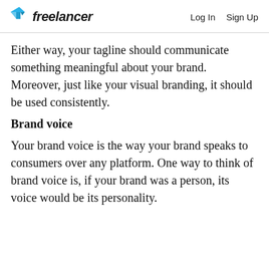freelancer  Log In  Sign Up
Either way, your tagline should communicate something meaningful about your brand. Moreover, just like your visual branding, it should be used consistently.
Brand voice
Your brand voice is the way your brand speaks to consumers over any platform. One way to think of brand voice is, if your brand was a person, its voice would be its personality.